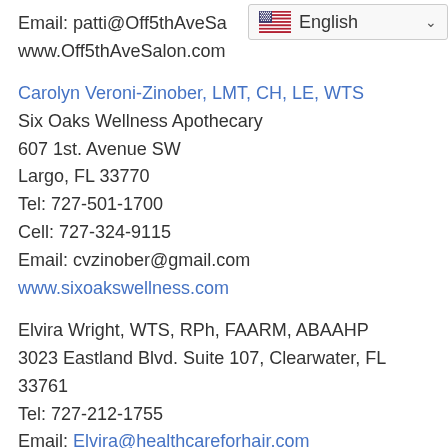Email: patti@Off5thAveSa…
www.Off5thAveSalon.com
Carolyn Veroni-Zinober, LMT, CH, LE, WTS
Six Oaks Wellness Apothecary
607 1st. Avenue SW
Largo, FL 33770
Tel: 727-501-1700
Cell: 727-324-9115
Email: cvzinober@gmail.com
www.sixoakswellness.com
Elvira Wright, WTS, RPh, FAARM, ABAAHP
3023 Eastland Blvd. Suite 107, Clearwater, FL 33761
Tel: 727-212-1755
Email: Elvira@healthcareforhair.com
www.HealthCareForHair.com